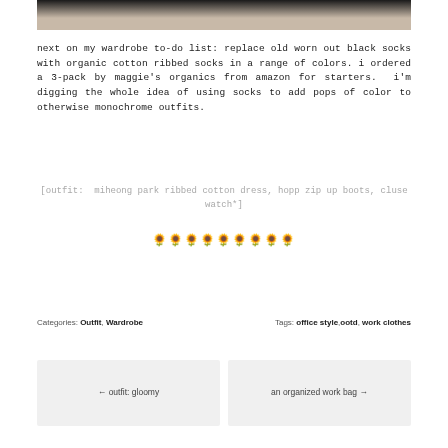[Figure (photo): Cropped photo showing the bottom of a black ribbed dress and bare legs/feet area at top of page]
next on my wardrobe to-do list: replace old worn out black socks with organic cotton ribbed socks in a range of colors. i ordered a 3-pack by maggie's organics from amazon for starters.  i'm digging the whole idea of using socks to add pops of color to otherwise monochrome outfits.
[outfit:  miheong park ribbed cotton dress, hopp zip up boots, cluse watch*]
🌻🌻🌻🌻🌻🌻🌻🌻🌻
Categories: Outfit, Wardrobe    Tags: office style, ootd, work clothes
← outfit: gloomy
an organized work bag →